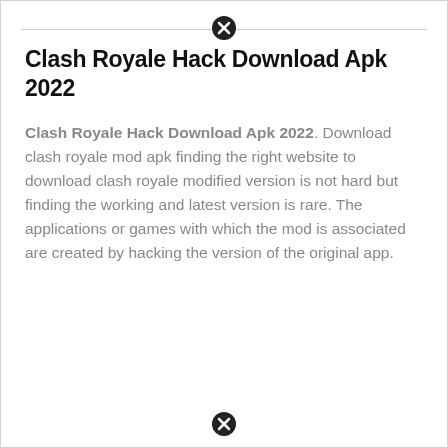[Figure (other): Close/dismiss button icon (circle with X) at top center]
Clash Royale Hack Download Apk 2022
Clash Royale Hack Download Apk 2022. Download clash royale mod apk finding the right website to download clash royale modified version is not hard but finding the working and latest version is rare. The applications or games with which the mod is associated are created by hacking the version of the original app.
[Figure (other): Close/dismiss button icon (circle with X) at bottom center]